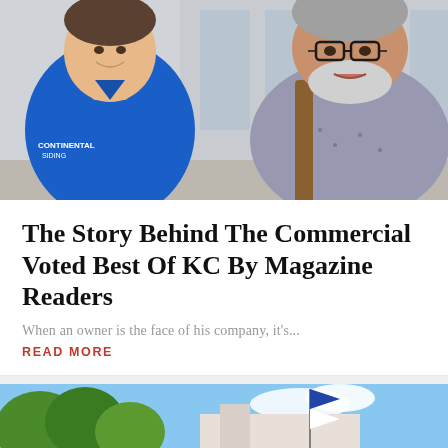[Figure (photo): Two men smiling — a younger man in a blue polo shirt on the left and an older man in a patterned shirt on the right, in what appears to be an indoor setting.]
The Story Behind The Commercial Voted Best Of KC By Magazine Readers
When an owner is the face of his company, it's...
READ MORE
[Figure (photo): Outdoor photo showing trees and a building with flags, partial view at the bottom of the page.]